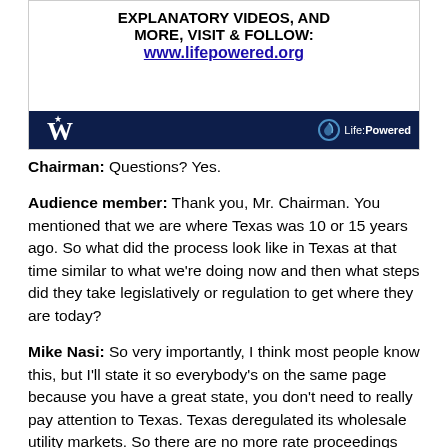[Figure (infographic): Banner advertisement for LifePowered.org: bold text 'EXPLANATORY VIDEOS, AND MORE, VISIT & FOLLOW:' with URL www.lifepowered.org, and dark navy footer bar with Texas Public Policy Foundation W logo on left and Life:Powered logo on right.]
Chairman: Questions? Yes.
Audience member: Thank you, Mr. Chairman. You mentioned that we are where Texas was 10 or 15 years ago. So what did the process look like in Texas at that time similar to what we're doing now and then what steps did they take legislatively or regulation to get where they are today?
Mike Nasi: So very importantly, I think most people know this, but I'll state it so everybody's on the same page because you have a great state, you don't need to really pay attention to Texas. Texas deregulated its wholesale utility markets. So there are no more rate proceedings